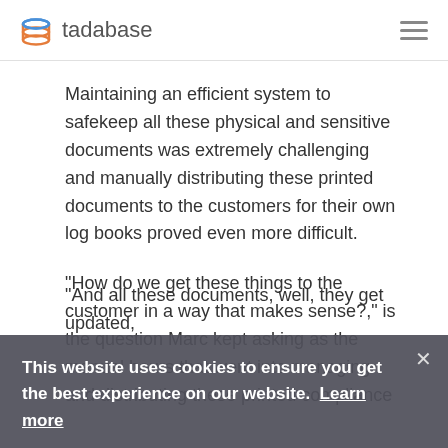tadabase
Maintaining an efficient system to safekeep all these physical and sensitive documents was extremely challenging and manually distributing these printed documents to the customers for their own log books proved even more difficult.
“How do we get these things to the customer in a way that makes sense?,” is the question Marc kept asking as the manual hours that went into managing and distributing these printed compliance papers kept piling up.
“And all these documents, well, they get updated,
This website uses cookies to ensure you get the best experience on our website. Learn more